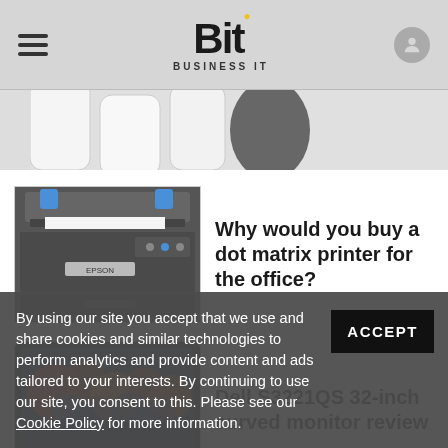Bit Business IT
[Figure (photo): Partial image of white WiFi routers/mesh devices at top of page (cropped)]
[Figure (photo): Dark grey dot matrix printer (Epson style) with blue paper guides]
Why would you buy a dot matrix printer for the office?
[Figure (photo): Dell S3221QS 32-inch curved monitor showing colorful display on dark stand]
Dell S3221QS 32-inch curved monitor review
By using our site you accept that we use and share cookies and similar technologies to perform analytics and provide content and ads tailored to your interests. By continuing to use our site, you consent to this. Please see our Cookie Policy for more information.